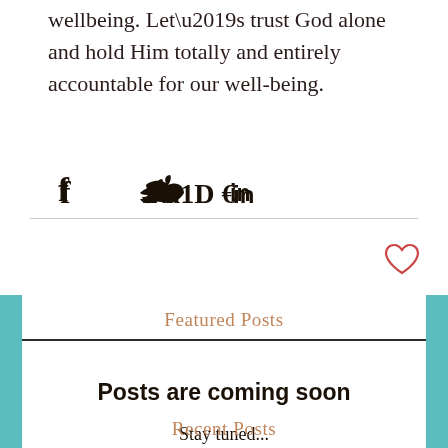wellbeing. Let’s trust God alone and hold Him totally and entirely accountable for our well-being.
[Figure (infographic): Social share icons: Facebook (f), Twitter (bird), LinkedIn (in)]
Featured Posts
Posts are coming soon
Stay tuned...
Recent Posts